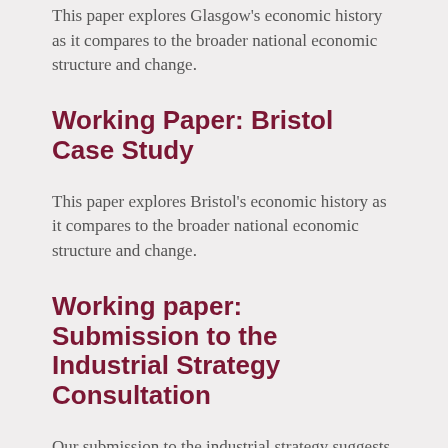This paper explores Glasgow’s economic history as it compares to the broader national economic structure and change.
Working Paper: Bristol Case Study
This paper explores Bristol’s economic history as it compares to the broader national economic structure and change.
Working paper: Submission to the Industrial Strategy Consultation
Our submission to the industrial strategy suggests that place needs to play a bigger role in the